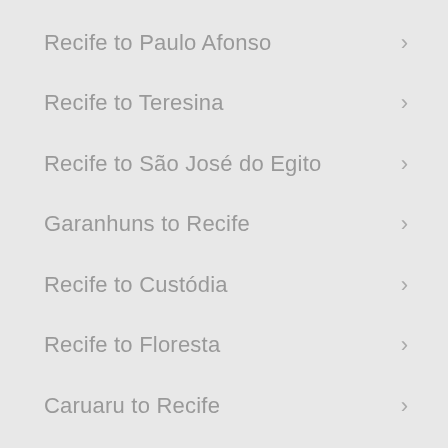Recife to Paulo Afonso
Recife to Teresina
Recife to São José do Egito
Garanhuns to Recife
Recife to Custódia
Recife to Floresta
Caruaru to Recife